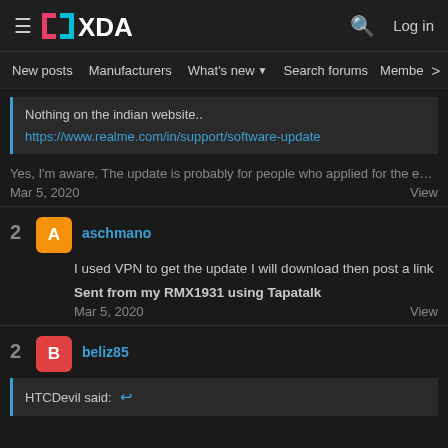XDA Forums navigation header with logo, search, and Log in
New posts  Manufacturers  What's new  Search forums  Membe  >
Nothing on the indian website..
https://www.realme.com/in/support/software-update
Yes, I'm aware. The update is probably for people who applied for the early
Mar 5, 2020    View
2  A  aschmano
I used VPN to get the update I will download then post a link

Sent from my RMX1931 using Tapatalk
Mar 5, 2020    View
2  B  beliz85
HTCDevil said: